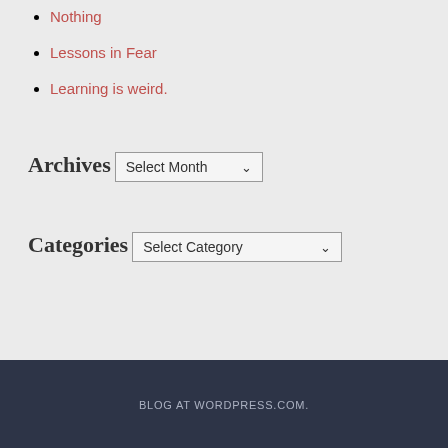Nothing
Lessons in Fear
Learning is weird.
Archives
Select Month
Categories
Select Category
BLOG AT WORDPRESS.COM.